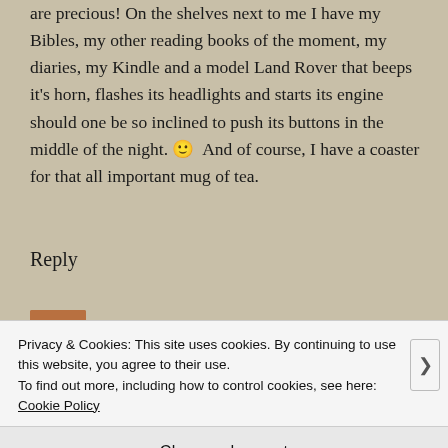are precious! On the shelves next to me I have my Bibles, my other reading books of the moment, my diaries, my Kindle and a model Land Rover that beeps it's horn, flashes its headlights and starts its engine should one be so inclined to push its buttons in the middle of the night. 🙂 And of course, I have a coaster for that all important mug of tea.
Reply
[Figure (photo): Small avatar thumbnail image, brown toned photo]
KATESHREWSDAY
Privacy & Cookies: This site uses cookies. By continuing to use this website, you agree to their use.
To find out more, including how to control cookies, see here: Cookie Policy
Close and accept